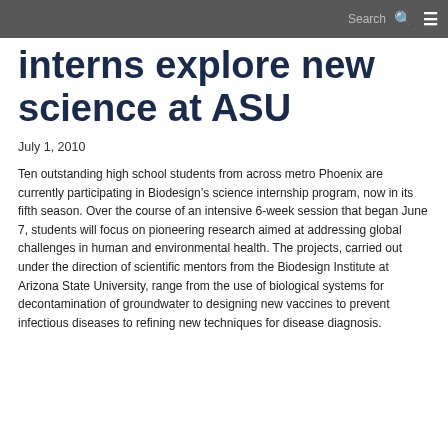Search
interns explore new science at ASU
July 1, 2010
Ten outstanding high school students from across metro Phoenix are currently participating in Biodesign’s science internship program, now in its fifth season. Over the course of an intensive 6-week session that began June 7, students will focus on pioneering research aimed at addressing global challenges in human and environmental health. The projects, carried out under the direction of scientific mentors from the Biodesign Institute at Arizona State University, range from the use of biological systems for decontamination of groundwater to designing new vaccines to prevent infectious diseases to refining new techniques for disease diagnosis.